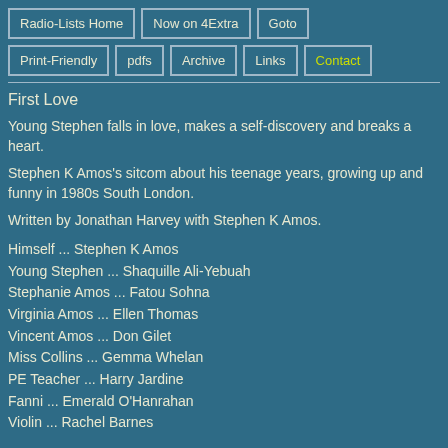Radio-Lists Home | Now on 4Extra | Goto | Print-Friendly | pdfs | Archive | Links | Contact
First Love
Young Stephen falls in love, makes a self-discovery and breaks a heart.
Stephen K Amos's sitcom about his teenage years, growing up and funny in 1980s South London.
Written by Jonathan Harvey with Stephen K Amos.
Himself ... Stephen K Amos
Young Stephen ... Shaquille Ali-Yebuah
Stephanie Amos ... Fatou Sohna
Virginia Amos ... Ellen Thomas
Vincent Amos ... Don Gilet
Miss Collins ... Gemma Whelan
PE Teacher ... Harry Jardine
Fanni ... Emerald O'Hanrahan
Violin ... Rachel Barnes